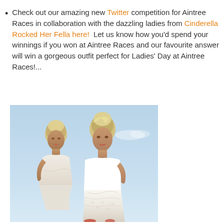Check out our amazing new Twitter competition for Aintree Races in collaboration with the dazzling ladies from Cinderella Rocked Her Fella here!  Let us know how you'd spend your winnings if you won at Aintree Races and our favourite answer will win a gorgeous outfit perfect for Ladies' Day at Aintree Races!...
[Figure (photo): Two blonde women with short hair wearing white/cream dresses posed against a light blue sky background]